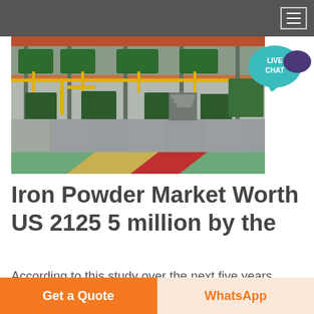[Figure (photo): Industrial factory floor showing iron powder processing machinery with metal structures, yellow railings and pipes, and a colorful painted floor (yellow, red, green stripes)]
Iron Powder Market Worth US 2125 5 million by the
According to this study over the next five years